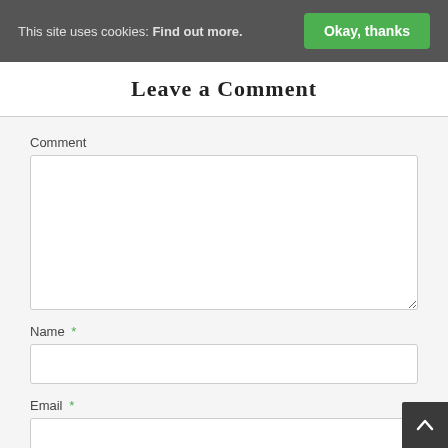This site uses cookies: Find out more. Okay, thanks
Leave a Comment
Comment
Name *
Email *